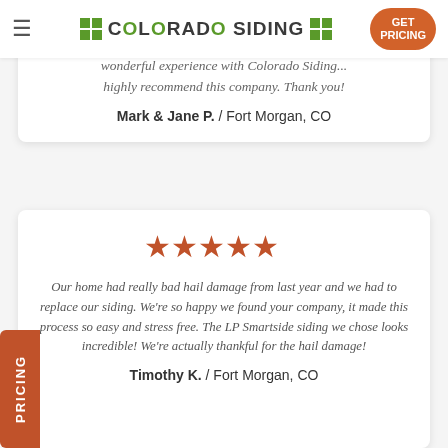Colorado Siding — navigation bar with logo and GET PRICING button
wonderful experience with Colorado Siding... highly recommend this company. Thank you!
Mark & Jane P. / Fort Morgan, CO
[Figure (other): Five orange/red filled stars rating]
Our home had really bad hail damage from last year and we had to replace our siding. We're so happy we found your company, it made this process so easy and stress free. The LP Smartside siding we chose looks incredible! We're actually thankful for the hail damage!
Timothy K. / Fort Morgan, CO